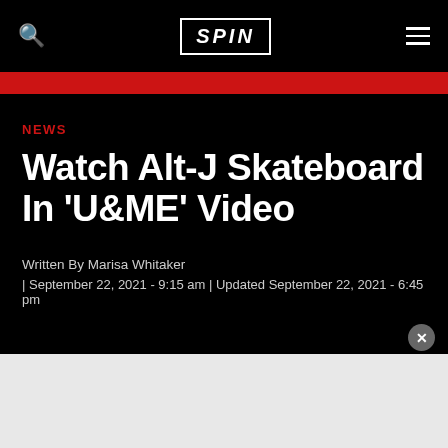SPIN
NEWS
Watch Alt-J Skateboard In 'U&ME' Video
Written By Marisa Whitaker
| September 22, 2021 - 9:15 am | Updated September 22, 2021 - 6:45 pm